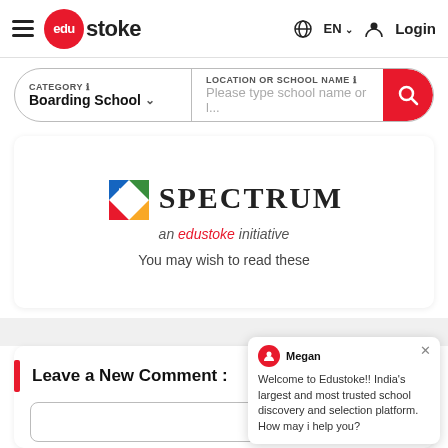edustoke — EN Login
CATEGORY: Boarding School | LOCATION OR SCHOOL NAME: Please type school name or l...
[Figure (logo): SPECTRUM — an edustoke initiative logo with colorful arrow/play icon]
You may wish to read these
Leave a New Comment :
Megan — Welcome to Edustoke!! India's largest and most trusted school discovery and selection platform. How may i help you?